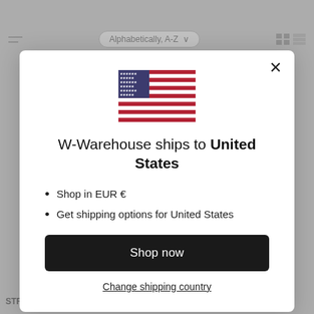[Figure (screenshot): Background of an e-commerce website showing sort/filter controls and product labels, dimmed behind modal overlay]
[Figure (illustration): US flag SVG illustration centered at top of modal]
W-Warehouse ships to United States
Shop in EUR €
Get shipping options for United States
Shop now
Change shipping country